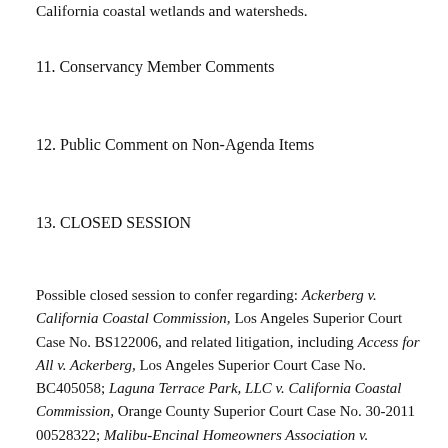California coastal wetlands and watersheds.
11. Conservancy Member Comments
12. Public Comment on Non-Agenda Items
13. CLOSED SESSION
Possible closed session to confer regarding: Ackerberg v. California Coastal Commission, Los Angeles Superior Court Case No. BS122006, and related litigation, including Access for All v. Ackerberg, Los Angeles Superior Court Case No. BC405058; Laguna Terrace Park, LLC v. California Coastal Commission, Orange County Superior Court Case No. 30-2011 00528322; Malibu-Encinal Homeowners Association v.